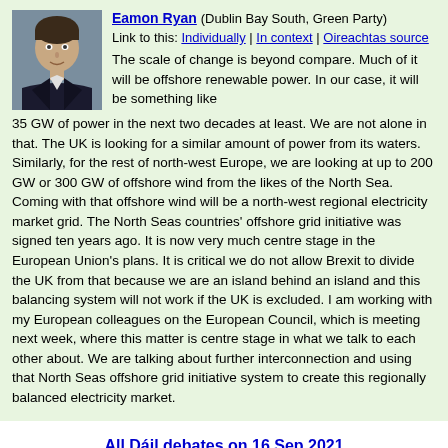Eamon Ryan (Dublin Bay South, Green Party)
Link to this: Individually | In context | Oireachtas source
The scale of change is beyond compare. Much of it will be offshore renewable power. In our case, it will be something like 35 GW of power in the next two decades at least. We are not alone in that. The UK is looking for a similar amount of power from its waters. Similarly, for the rest of north-west Europe, we are looking at up to 200 GW or 300 GW of offshore wind from the likes of the North Sea. Coming with that offshore wind will be a north-west regional electricity market grid. The North Seas countries' offshore grid initiative was signed ten years ago. It is now very much centre stage in the European Union's plans. It is critical we do not allow Brexit to divide the UK from that because we are an island behind an island and this balancing system will not work if the UK is excluded. I am working with my European colleagues on the European Council, which is meeting next week, where this matter is centre stage in what we talk to each other about. We are talking about further interconnection and using that North Seas offshore grid initiative system to create this regionally balanced electricity market.
All Dáil debates on 16 Sep 2021
« Previous debate
Next debate »